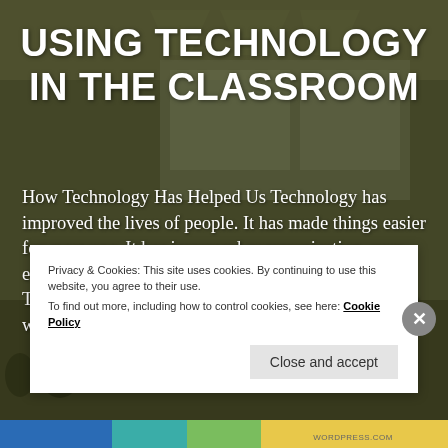[Figure (photo): Background photograph of a lecture hall/classroom with students and projection screens, overlaid with dark olive-green tint]
USING TECHNOLOGY IN THE CLASSROOM
How Technology Has Helped Us Technology has improved the lives of people. It has made things easier for everyone. It has improved communication, user experience, and interface. The Benefits of Using Technology in the Classroom These days children are wholly engaged in using
Privacy & Cookies: This site uses cookies. By continuing to use this website, you agree to their use.
To find out more, including how to control cookies, see here: Cookie Policy
Close and accept